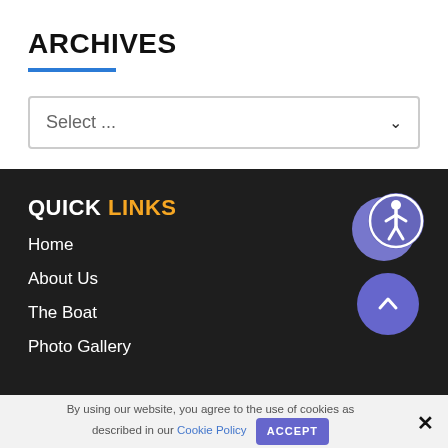ARCHIVES
Select ...
QUICK LINKS
Home
About Us
The Boat
Photo Gallery
[Figure (illustration): Accessibility icon button (person with circle) and scroll-to-top chevron button, both purple/blue circles]
By using our website, you agree to the use of cookies as described in our Cookie Policy  ACCEPT  ×